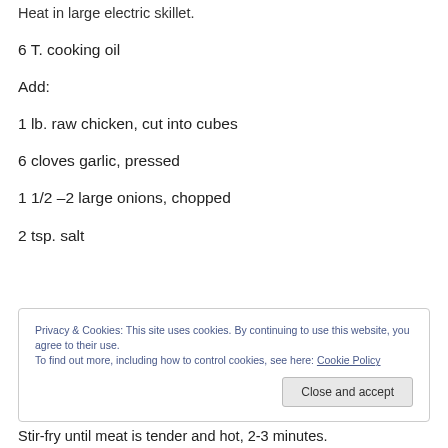Heat in large electric skillet.
6 T. cooking oil
Add:
1 lb. raw chicken, cut into cubes
6 cloves garlic, pressed
1 1/2 –2 large onions, chopped
2 tsp. salt
Privacy & Cookies: This site uses cookies. By continuing to use this website, you agree to their use. To find out more, including how to control cookies, see here: Cookie Policy
Stir-fry until meat is tender and hot, 2-3 minutes.